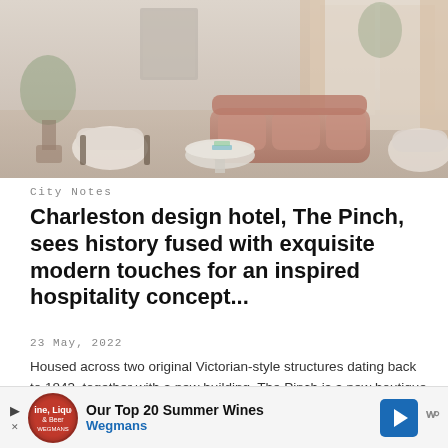[Figure (photo): Interior of a hotel lobby or lounge area with Victorian-modern style. Features a pink velvet tufted sofa, fluffy white armchairs, a round marble coffee table, potted plants, and large windows with pink curtains. Warm, light, airy aesthetic.]
City Notes
Charleston design hotel, The Pinch, sees history fused with exquisite modern touches for an inspired hospitality concept...
23 May, 2022
Housed across two original Victorian-style structures dating back to 1843, together with a new building, The Pinch is a new boutique hotel with 22 luxury rooms and suites, along with three fully furnished res...
[Figure (infographic): Advertisement bar: Our Top 20 Summer Wines - Wegmans. Features wine store logo (red circle with bottle icon), navigation arrow icon, and Wegmans branding in blue text.]